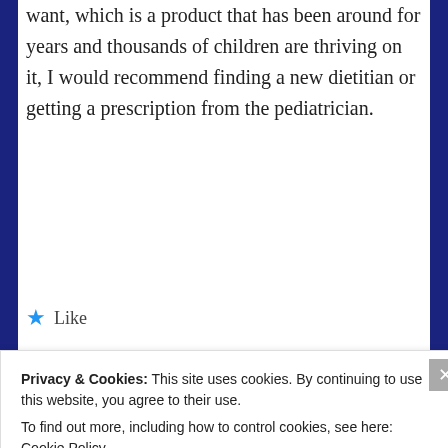want, which is a product that has been around for years and thousands of children are thriving on it, I would recommend finding a new dietitian or getting a prescription from the pediatrician.
★ Like
Reply →
JASMINE
March 25, 2020 at 5:18 am
Privacy & Cookies: This site uses cookies. By continuing to use this website, you agree to their use.
To find out more, including how to control cookies, see here: Cookie Policy